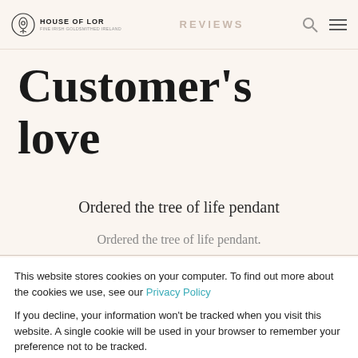HOUSE OF LOR | REVIEWS
Customer's love
Ordered the tree of life pendant
Ordered the tree of life pendant.
This website stores cookies on your computer. To find out more about the cookies we use, see our Privacy Policy
If you decline, your information won't be tracked when you visit this website. A single cookie will be used in your browser to remember your preference not to be tracked.